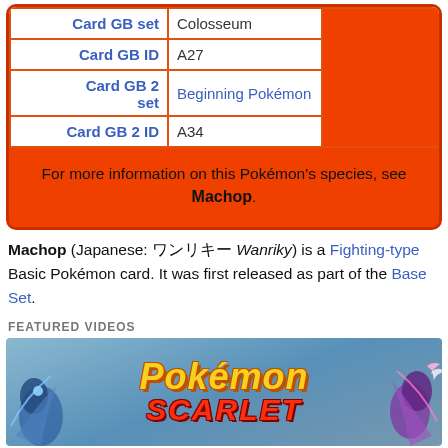| Label | Value |
| --- | --- |
| Card GB set | Colosseum |
| Card GB ID | A27 |
| Card GB 2 set | Beginning Pokémon |
| Card GB 2 ID | A34 |
For more information on this Pokémon's species, see Machop.
Machop (Japanese: ワンリキー Wanriky) is a Fighting-type Basic Pokémon card. It was first released as part of the Base Set.
FEATURED VIDEOS
[Figure (photo): Pokémon Scarlet featured video thumbnail with dragon Pokémon on the sides and the Pokémon Scarlet logo in the center]